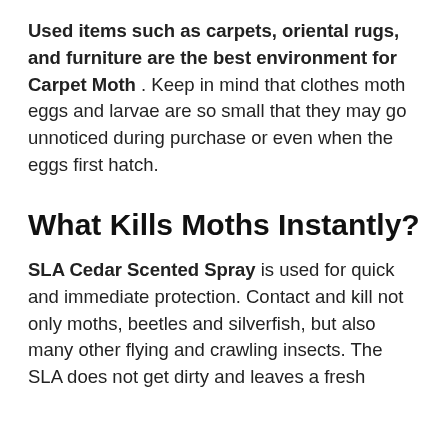Used items such as carpets, oriental rugs, and furniture are the best environment for Carpet Moth . Keep in mind that clothes moth eggs and larvae are so small that they may go unnoticed during purchase or even when the eggs first hatch.
What Kills Moths Instantly?
SLA Cedar Scented Spray is used for quick and immediate protection. Contact and kill not only moths, beetles and silverfish, but also many other flying and crawling insects. The SLA does not get dirty and leaves a fresh ...